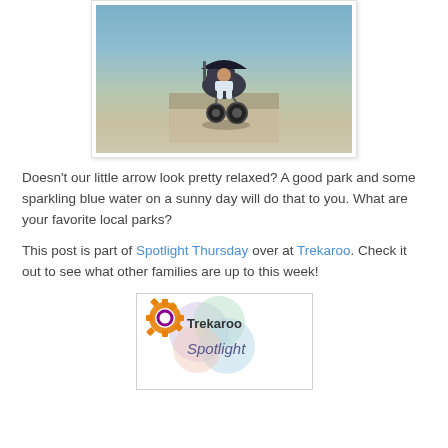[Figure (photo): Photo of a baby in a jogging stroller near a body of water on a sunny day, housed in a white photo frame with shadow]
Doesn't our little arrow look pretty relaxed? A good park and some sparkling blue water on a sunny day will do that to you. What are your favorite local parks?
This post is part of Spotlight Thursday over at Trekaroo. Check it out to see what other families are up to this week!
[Figure (logo): Trekaroo Spotlight logo with colorful overlapping circles and gear icon]